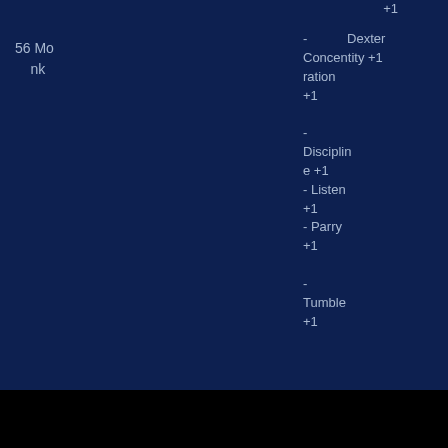+1
56 Monk
- Dexterity +1 - Concentration +1 - Discipline +1 - Listen +1 - Parry +1 - Tumble +1
57 Monk  - Great Dexterity 7
- Concentration +1 - Discipline +1 - Listen +1 - Parry +1